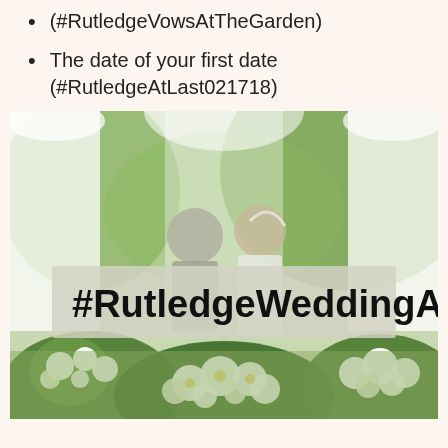(#RutledgeVowsAtTheGarden)
The date of your first date (#RutledgeAtLast021718)
[Figure (photo): Outdoor wedding scene: couple standing at altar with white drapes and green foliage in background; white floral arrangements in foreground; overlaid banner reading #RutledgeWeddingAZ]